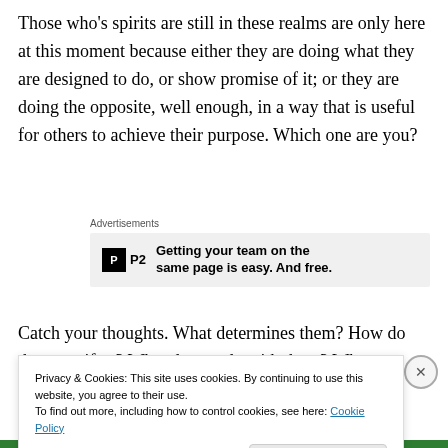Those who's spirits are still in these realms are only here at this moment because either they are doing what they are designed to do, or show promise of it; or they are doing the opposite, well enough, in a way that is useful for others to achieve their purpose. Which one are you?
[Figure (other): Advertisement banner for P2 with text: Getting your team on the same page is easy. And free.]
Catch your thoughts. What determines them? How do they manifest? What do you do with them? Who, or what
Privacy & Cookies: This site uses cookies. By continuing to use this website, you agree to their use.
To find out more, including how to control cookies, see here: Cookie Policy
Close and accept